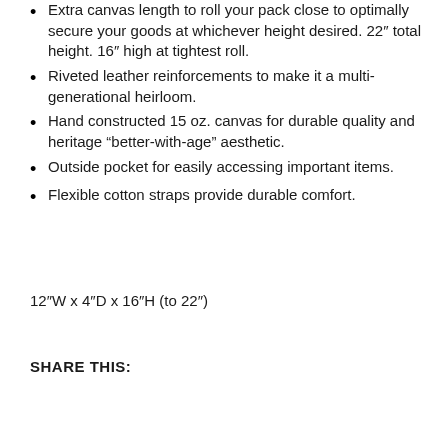Extra canvas length to roll your pack close to optimally secure your goods at whichever height desired. 22″ total height. 16″ high at tightest roll.
Riveted leather reinforcements to make it a multi-generational heirloom.
Hand constructed 15 oz. canvas for durable quality and heritage “better-with-age” aesthetic.
Outside pocket for easily accessing important items.
Flexible cotton straps provide durable comfort.
12″W x 4″D x 16″H (to 22″)
SHARE THIS:
[Figure (other): Close button (X) and advertisement box area at bottom of page]